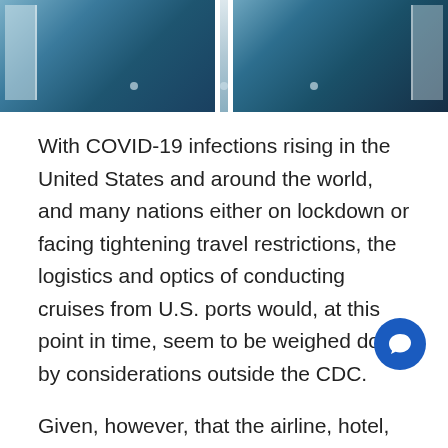[Figure (photo): Interior photo of a cruise ship corridor or deck with blue carpet and floor-to-ceiling windows, divided by a central column, showing social distancing markers on the floor]
With COVID-19 infections rising in the United States and around the world, and many nations either on lockdown or facing tightening travel restrictions, the logistics and optics of conducting cruises from U.S. ports would, at this point in time, seem to be weighed down by considerations outside the CDC.
Given, however, that the airline, hotel, rail and other segments of the travel industry are